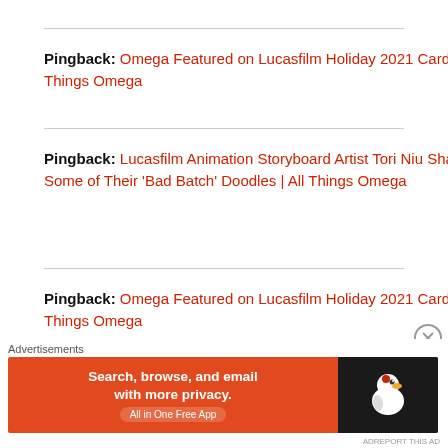Pingback: Omega Featured on Lucasfilm Holiday 2021 Card | All Things Omega
Pingback: Lucasfilm Animation Storyboard Artist Tori Niu Shares Some of Their ‘Bad Batch’ Doodles | All Things Omega
Pingback: Omega Featured on Lucasfilm Holiday 2021 Card - All Things Omega
Pingback: Where to Buy Fan-Made Omega
Advertisements
[Figure (screenshot): DuckDuckGo advertisement banner: orange background with text 'Search, browse, and email with more privacy. All in One Free App' and DuckDuckGo duck logo on dark right panel.]